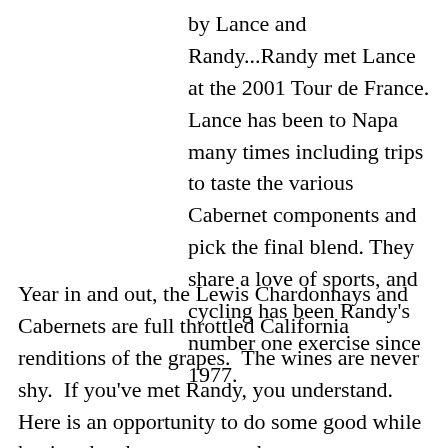by Lance and Randy...Randy met Lance at the 2001 Tour de France. Lance has been to Napa many times including trips to taste the various Cabernet components and pick the final blend. They share a love of sports, and cycling has been Randy's number one exercise since 1977.
Year in and out, the Lewis Chardonnays and Cabernets are full throttled California renditions of the grapes.  The wines are never shy.  If you've met Randy, you understand.  Here is an opportunity to do some good while having the chance to taste the